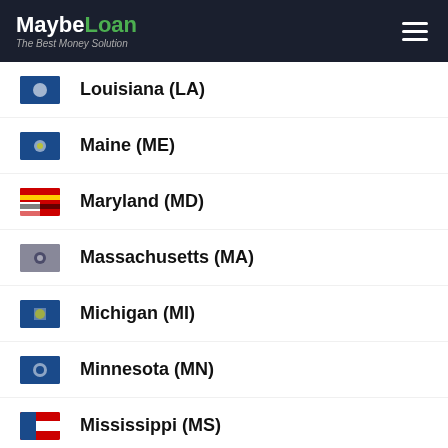MaybeLoan — The Best Money Solution
Louisiana (LA)
Maine (ME)
Maryland (MD)
Massachusetts (MA)
Michigan (MI)
Minnesota (MN)
Mississippi (MS)
Missouri (MO)
Montana (MT)
Nebraska (NE)
Nevada (NV)
New Hampshire (NH)
New Jersey (NJ)
New Mexico (NM)